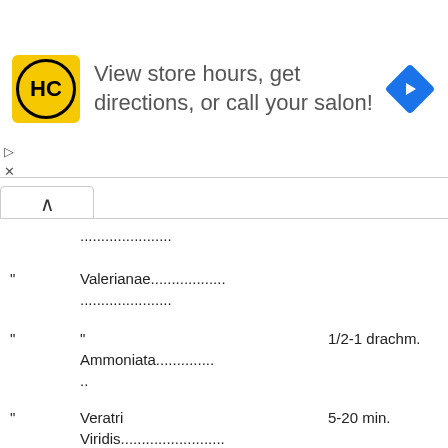[Figure (screenshot): Advertisement banner for Hair Club (HC) with yellow logo, text 'View store hours, get directions, or call your salon!', and a blue navigation arrow icon]
....................
" Valerianae.................. ....................
" " 1/2-1 drachm. Ammoniata.............. ..
" Veratri Viridis........................ ....... 5-20 min.
" Zingiberis.................. 10-60 min.